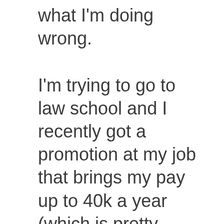what I'm doing wrong.
I'm trying to go to law school and I recently got a promotion at my job that brings my pay up to 40k a year (which is pretty good for a full-time college student). I live with roommates and pay most of my own bills, and it just seems like every girl that meets me for some reason or another just ghost me, rejects me, etc.